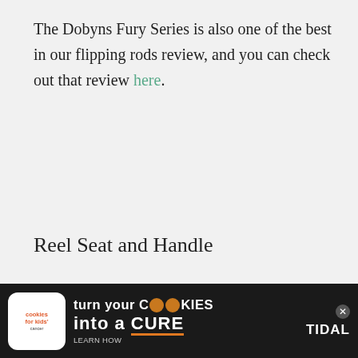The Dobyns Fury Series is also one of the best in our flipping rods review, and you can check out that review here.
Reel Seat and Handle
The spinnerbait rod comes with Fuji reel seats that's solid and isn't going to let your reel combo go anywhere, plus a comfortable EVA handle to ensure your hands stay blister-free while casting all day.
[Figure (other): Advertisement banner for Cookies for Kids Cancer showing 'turn your COOKIES into a CURE LEARN HOW' with a close button and Tidal logo on the right]